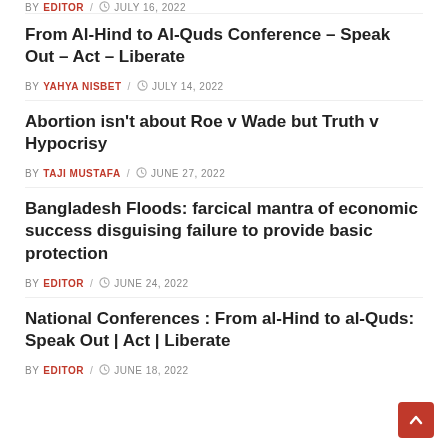BY EDITOR / JULY 16, 2022
From Al-Hind to Al-Quds Conference – Speak Out – Act – Liberate
BY YAHYA NISBET / JULY 14, 2022
Abortion isn't about Roe v Wade but Truth v Hypocrisy
BY TAJI MUSTAFA / JUNE 27, 2022
Bangladesh Floods: farcical mantra of economic success disguising failure to provide basic protection
BY EDITOR / JUNE 24, 2022
National Conferences : From al-Hind to al-Quds: Speak Out | Act | Liberate
BY EDITOR / JUNE 18, 2022